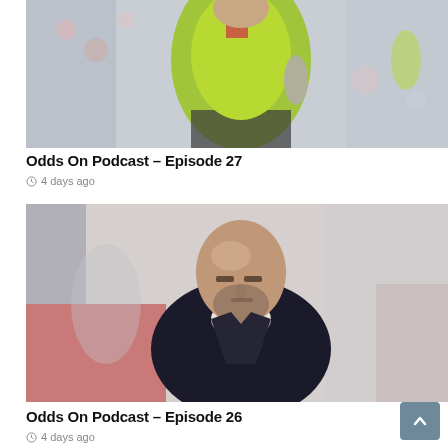[Figure (photo): Football player wearing a bright yellow-green Manchester United jersey standing on a pitch with crowd in background]
Odds On Podcast – Episode 27
4 days ago
[Figure (photo): Bald man with beard wearing dark jacket and white turtleneck, appearing to be a football manager, with blurred crowd in background]
Odds On Podcast – Episode 26
4 days ago